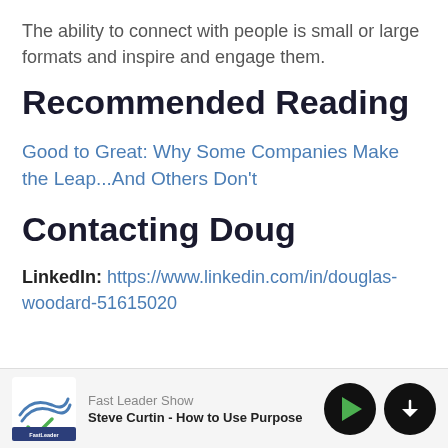The ability to connect with people is small or large formats and inspire and engage them.
Recommended Reading
Good to Great: Why Some Companies Make the Leap...And Others Don't
Contacting Doug
LinkedIn: https://www.linkedin.com/in/douglas-woodard-51615020
Fast Leader Show | Steve Curtin - How to Use Purpose